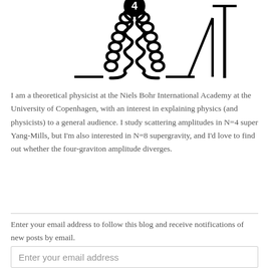[Figure (illustration): Physics diagram showing a Feynman-style diagram with a particle (labeled 4) at the top with two spiral/coil legs going downward left and right, and a triangle-like symbol with a vertical line on the right side, all in black and white.]
I am a theoretical physicist at the Niels Bohr International Academy at the University of Copenhagen, with an interest in explaining physics (and physicists) to a general audience. I study scattering amplitudes in N=4 super Yang-Mills, but I'm also interested in N=8 supergravity, and I'd love to find out whether the four-graviton amplitude diverges.
Enter your email address to follow this blog and receive notifications of new posts by email.
Enter your email address